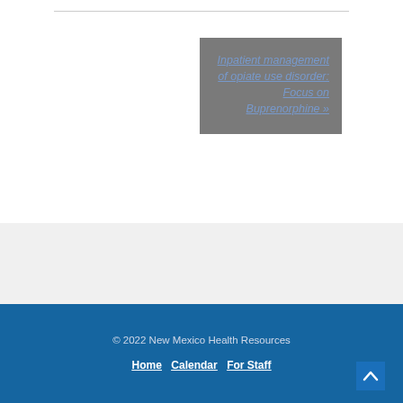[Figure (other): Gray card box with linked italic text: 'Inpatient management of opiate use disorder: Focus on Buprenorphine »']
© 2022 New Mexico Health Resources
Home  Calendar  For Staff